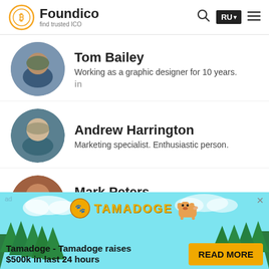Foundico find trusted ICO
Tom Bailey
Working as a graphic designer for 10 years.
in
Andrew Harrington
Marketing specialist. Enthusiastic person.
Mark Peters
Frontend developer best at JavaScript, C# , Java.
[Figure (infographic): Tamadoge advertisement banner with sky/forest background, Tamadoge logo, dog mascot, and Read More button. Text: Tamadoge - Tamadoge raises $500k in last 24 hours. READ MORE button.]